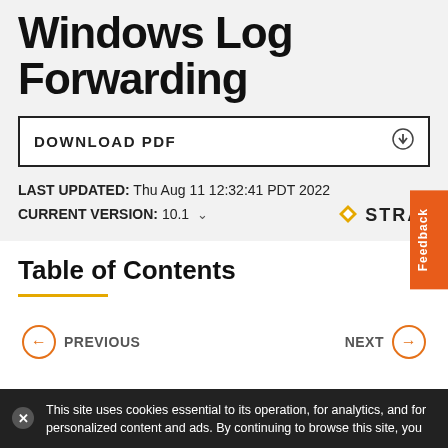Windows Log Forwarding
DOWNLOAD PDF
LAST UPDATED: Thu Aug 11 12:32:41 PDT 2022
CURRENT VERSION: 10.1
[Figure (logo): Strata logo with diamond icon and text 'STRAT']
Table of Contents
PREVIOUS
NEXT
This site uses cookies essential to its operation, for analytics, and for personalized content and ads. By continuing to browse this site, you